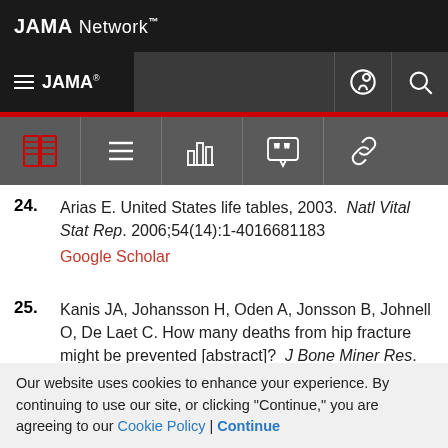JAMA Network
24. Arias E. United States life tables, 2003. Natl Vital Stat Rep. 2006;54(14):1-4016681183
Google Scholar
25. Kanis JA, Johansson H, Oden A, Jonsson B, Johnell O, De Laet C. How many deaths from hip fracture might be prevented [abstract]? J Bone Miner Res. 2002;17:(suppl 1) S146
Google Scholar | Crossref
Our website uses cookies to enhance your experience. By continuing to use our site, or clicking "Continue," you are agreeing to our Cookie Policy | Continue